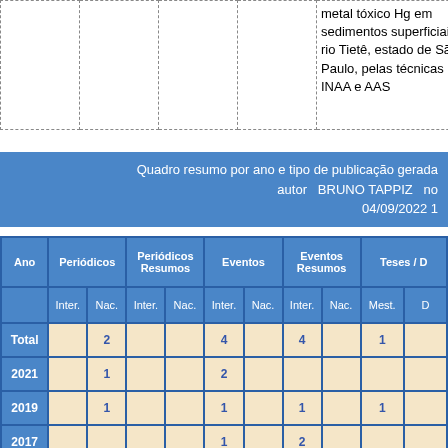|  |  |  |  | metal tóxico Hg em sedimentos superficiais do rio Tietê, estado de São Paulo, pelas técnicas de INAA e AAS |
| --- | --- | --- | --- | --- |
|  |  |  |  |  |
| Ano | Periódicos Inter. | Periódicos Nac. | Periódicos Resumos Inter. | Periódicos Resumos Nac. | Eventos Inter. | Eventos Nac. | Eventos Resumos Inter. | Eventos Resumos Nac. | Teses / D Mest. | D |
| --- | --- | --- | --- | --- | --- | --- | --- | --- | --- | --- |
| Total |  | 2 |  |  | 4 |  | 4 |  | 1 |  |
| 2021 |  | 1 |  |  | 2 |  |  |  |  |  |
| 2019 |  | 1 |  |  | 1 |  | 1 |  | 1 |  |
| 2017 |  |  |  |  | 1 |  | 2 |  |  |  |
| 2014 |  |  |  |  |  |  | 1 |  |  |  |